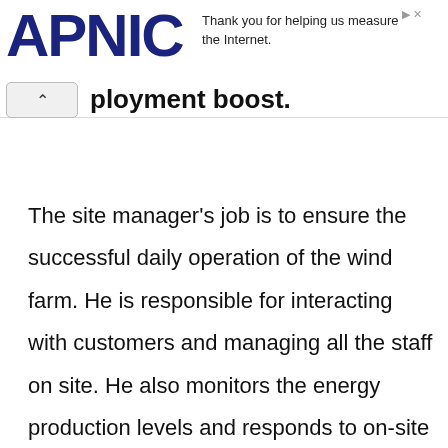APNIC — Thank you for helping us measure the Internet.
...ployment boost.
The site manager's job is to ensure the successful daily operation of the wind farm. He is responsible for interacting with customers and managing all the staff on site. He also monitors the energy production levels and responds to on-site emergencies. As you can see, it is a job that requires astute leadership and management.